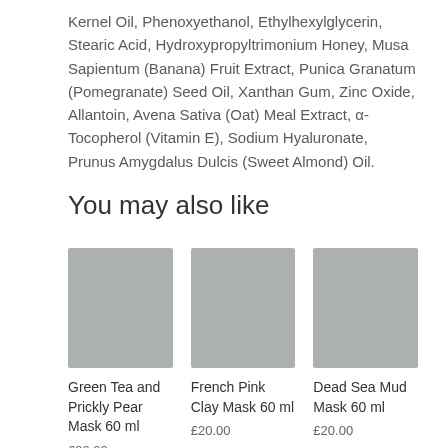Kernel Oil, Phenoxyethanol, Ethylhexylglycerin, Stearic Acid, Hydroxypropyltrimonium Honey, Musa Sapientum (Banana) Fruit Extract, Punica Granatum (Pomegranate) Seed Oil, Xanthan Gum, Zinc Oxide, Allantoin, Avena Sativa (Oat) Meal Extract, α-Tocopherol (Vitamin E), Sodium Hyaluronate, Prunus Amygdalus Dulcis (Sweet Almond) Oil.
You may also like
[Figure (photo): Grey placeholder image for Green Tea and Prickly Pear Mask 60 ml]
Green Tea and Prickly Pear Mask 60 ml
£20.00
[Figure (photo): Grey placeholder image for French Pink Clay Mask 60 ml]
French Pink Clay Mask 60 ml
£20.00
[Figure (photo): Grey placeholder image for Dead Sea Mud Mask 60 ml]
Dead Sea Mud Mask 60 ml
£20.00